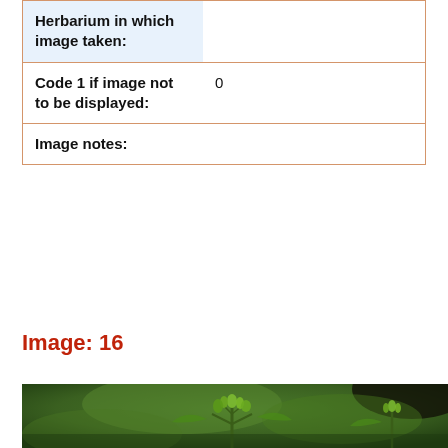| Field | Value |
| --- | --- |
| Herbarium in which image taken: |  |
| Code 1 if image not to be displayed: | 0 |
| Image notes: |  |
Image: 16
[Figure (photo): Close-up photograph of a green plant with small budding leaves/flowers on stems, with blurred green background.]